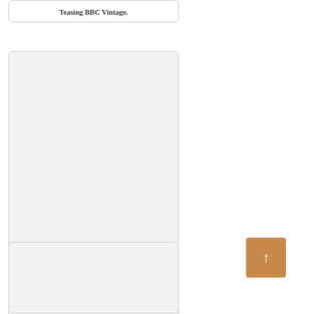Sexy Latin Babe With Huge Breasts Teasing BBC Vintage.
[Figure (other): Large card with image placeholder area]
Sexy Latin Babe With Huge Breasts Teasing BBC Vintage.
[Figure (other): Bottom card with image placeholder area]